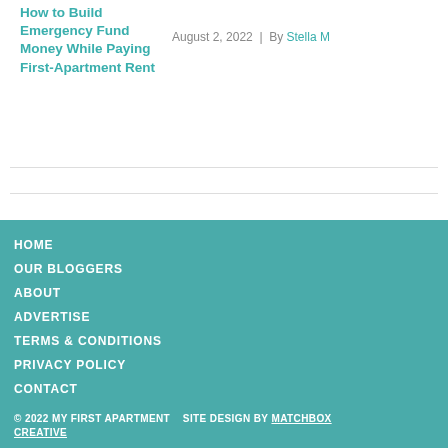How to Build Emergency Fund Money While Paying First-Apartment Rent
August 2, 2022  |  By Stella M
HOME
OUR BLOGGERS
ABOUT
ADVERTISE
TERMS & CONDITIONS
PRIVACY POLICY
CONTACT
© 2022 MY FIRST APARTMENT    SITE DESIGN BY MATCHBOX CREATIVE